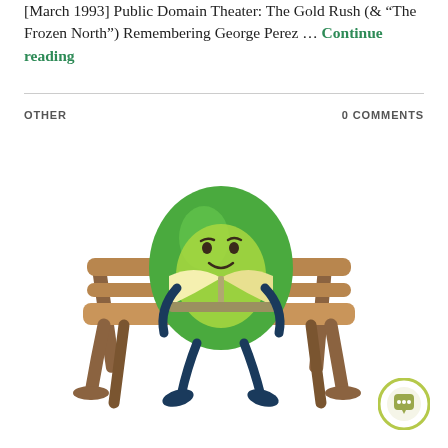[March 1993] Public Domain Theater: The Gold Rush (& "The Frozen North") Remembering George Perez ... Continue reading
OTHER   0 COMMENTS
[Figure (illustration): A cartoon avocado character with a smiling face sitting on a wooden park bench, reading an open book. The character has dark teal arms and legs.]
[Figure (illustration): A circular chat/messaging button with a speech bubble icon, olive/avocado green border on white background, positioned in the bottom-right corner.]